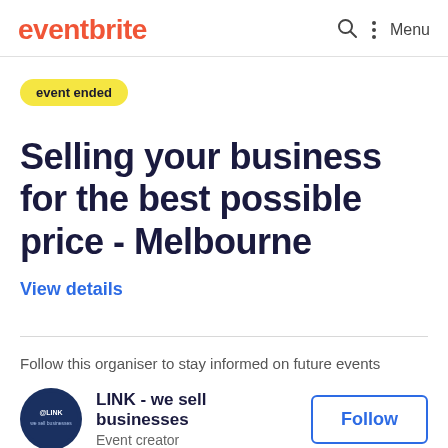eventbrite
event ended
Selling your business for the best possible price - Melbourne
View details
Follow this organiser to stay informed on future events
LINK - we sell businesses
Event creator